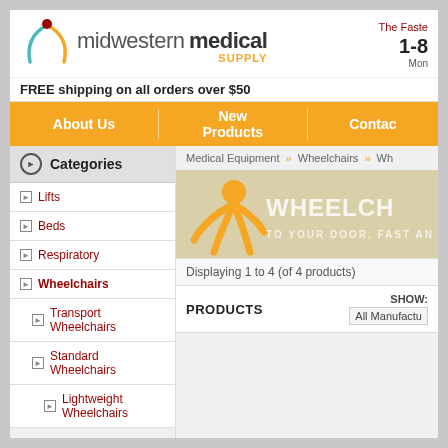[Figure (logo): Midwestern Medical Supply logo with stylized human figure in teal/orange/red colors]
The Fastest...  1-8...  Mon...
FREE shipping on all orders over $50
About Us | New Products | Contact
Medical Equipment » Wheelchairs » Wh...
[Figure (illustration): Wheelchair banner with orange figure and text WHEELCH... TO YOUR DOOR, FAST AN...]
Displaying 1 to 4 (of 4 products)
Categories
Lifts
Beds
Respiratory
Wheelchairs
Transport Wheelchairs
Standard Wheelchairs
Lightweight Wheelchairs
PRODUCTS
SHOW: All Manufactu...